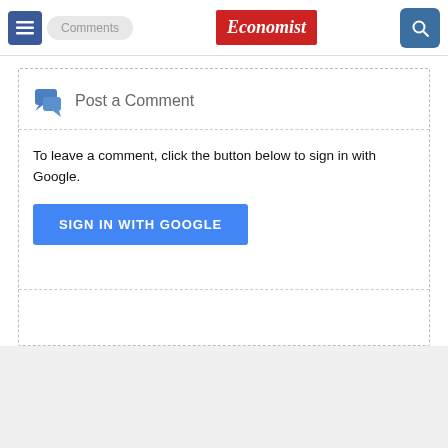≡ Comments | Economist | 🔍
Post a Comment
To leave a comment, click the button below to sign in with Google.
SIGN IN WITH GOOGLE